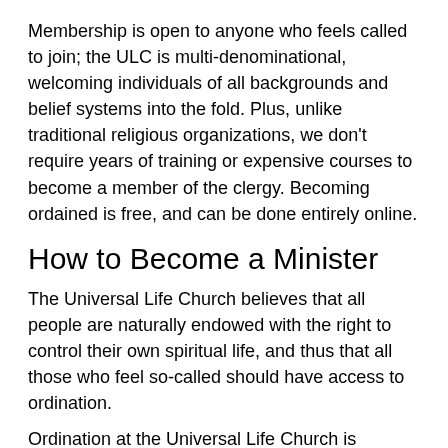Membership is open to anyone who feels called to join; the ULC is multi-denominational, welcoming individuals of all backgrounds and belief systems into the fold. Plus, unlike traditional religious organizations, we don't require years of training or expensive courses to become a member of the clergy. Becoming ordained is free, and can be done entirely online.
How to Become a Minister
The Universal Life Church believes that all people are naturally endowed with the right to control their own spiritual life, and thus that all those who feel so-called should have access to ordination.
Ordination at the Universal Life Church is completely legal, is cost-free, and isn't complicated. An ancient Chinese proverb instructs us that the journey of a thousand miles begins with a single step. Within you lies the capacity to make the universe a better place, and your ordination may well unlock that potential.